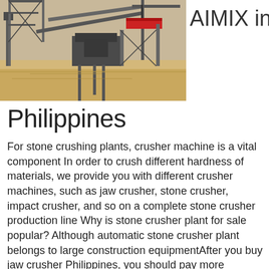[Figure (photo): Photograph of a large stone crushing plant / construction equipment site with machinery and structures on sandy ground. Partially visible, cropped on the right side.]
AIMIX in Philippines
For stone crushing plants, crusher machine is a vital component In order to crush different hardness of materials, we provide you with different crusher machines, such as jaw crusher, stone crusher, impact crusher, and so on a complete stone crusher production line Why is stone crusher plant for sale popular? Although automatic stone crusher plant belongs to large construction equipmentAfter you buy jaw crusher Philippines, you should pay more attention to the machine in order that you can use the machine for a longer time 1 PE750X1060 and above models are generally disassembled for transportation due to their large size and then assembled on site 2 Jaw crusher Philippines must start empty, with the material will damageJaw Crusher for Sale in Philippines Click for Price